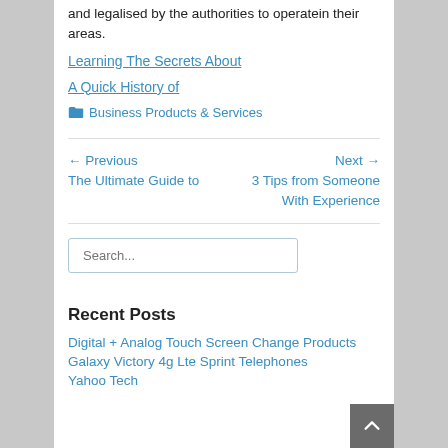and legalised by the authorities to operatein their areas.
Learning The Secrets About
A Quick History of
Business Products & Services
← Previous The Ultimate Guide to
Next → 3 Tips from Someone With Experience
Search...
Recent Posts
Digital + Analog Touch Screen Change Products
Galaxy Victory 4g Lte Sprint Telephones
Yahoo Tech